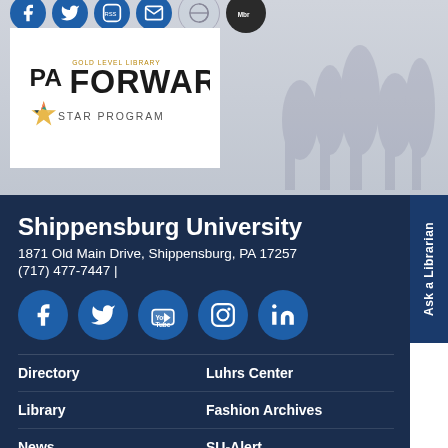[Figure (logo): PA Forward Gold Level Library Star Program logo on white background]
Shippensburg University
1871 Old Main Drive, Shippensburg, PA 17257
(717) 477-7447 |
[Figure (illustration): Row of social media icons: Facebook, Twitter, YouTube, Instagram, LinkedIn]
Directory
Luhrs Center
Library
Fashion Archives
News
SU-Alert